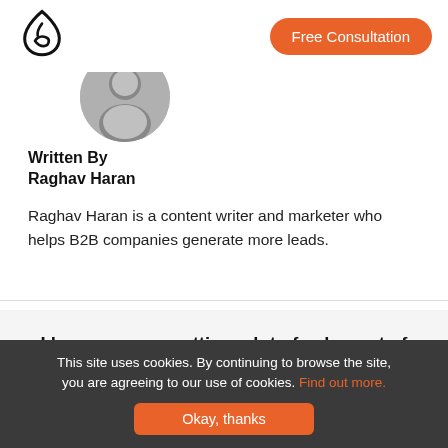[Figure (logo): Single Grain logo - stylized water drop outline in black]
Free Consultation
[Figure (photo): Round profile photo of Raghav Haran in black and white]
Written By
Raghav Haran
Raghav Haran is a content writer and marketer who helps B2B companies generate more leads.
I hope you are getting a lot of value out of this blog post.
Do you want to learn more about this topic? Schedule a Free Consultation call with a Single Grain Expert now!
This site uses cookies. By continuing to browse the site, you are agreeing to our use of cookies. Find out more.
Okay, thanks